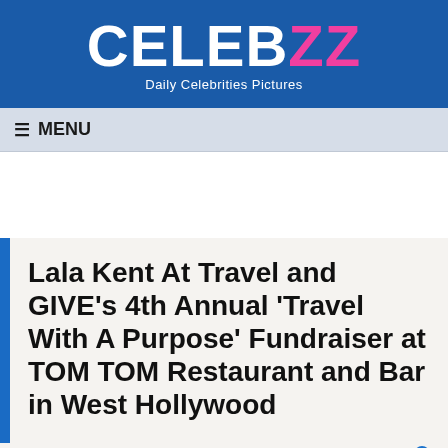CELEBZZ — Daily Celebrities Pictures
≡ MENU
Lala Kent At Travel and GIVE's 4th Annual 'Travel With A Purpose' Fundraiser at TOM TOM Restaurant and Bar in West Hollywood
by Herbo | 14 October, 2021  No Comments